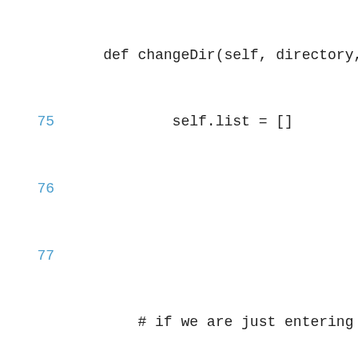[Figure (screenshot): Code editor screenshot showing Python source code lines 75-86 of a changeDir method. Line numbers are in blue on the left. Code text is in monospace dark font on white background. The visible code includes self.list = [], comments, if self.current_directory is None block, self.mount_point assignment, self.current_directory assignment, directories and files list initializations, if directory is None check, print statement, and for loop.]